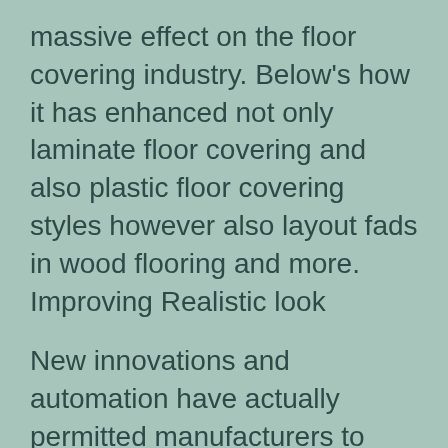massive effect on the floor covering industry. Below's how it has enhanced not only laminate floor covering and also plastic floor covering styles however also layout fads in wood flooring and more.
Improving Realistic look
New innovations and automation have actually permitted manufacturers to produce much more reasonable colours, textures, and grains. Actually, even taking a look at synthetic rock flooring you see major distinctions in products such as vinyl or laminate slate. This tempts homeowners to lean in the direction of what